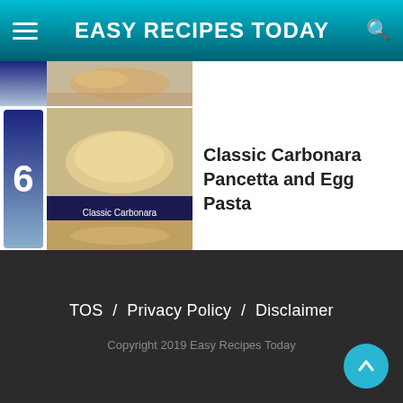EASY RECIPES TODAY
[Figure (screenshot): Partial thumbnail of a recipe dish at the top of the list]
6 Classic Carbonara Pancetta and Egg Pasta
7 AVOCADO EGG ROLLS WITH SWEET CHILI SAUCE
TOS / Privacy Policy / Disclaimer
Copyright 2019 Easy Recipes Today